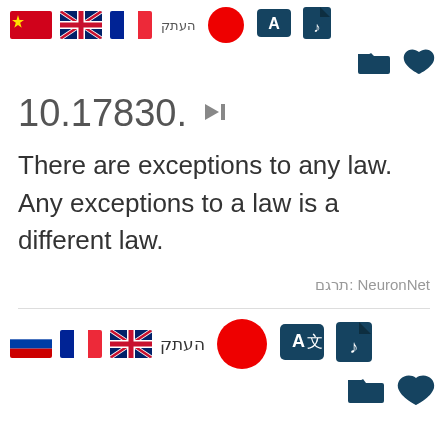[Figure (screenshot): Top navigation bar with language flag icons (Chinese/red, UK, French, Hebrew text), red circle, teal rectangle icon, teal audio icon, followed by folder and heart icons on second row]
10.17830.
There are exceptions to any law.  Any exceptions to a law is a different law.
תרגם: NeuronNet
[Figure (screenshot): Bottom navigation bar with Russian flag, French flag, UK flag, Hebrew copy text, red record circle, translate A/Z icon, audio file icon, followed by folder and heart icons on second row]